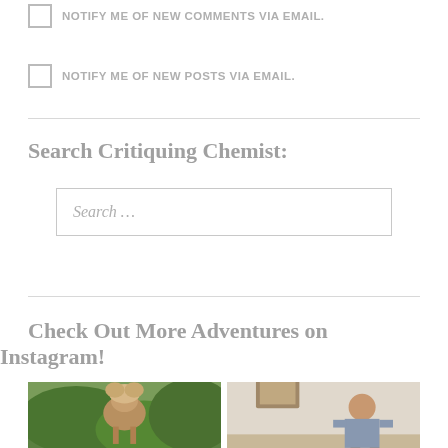NOTIFY ME OF NEW COMMENTS VIA EMAIL.
NOTIFY ME OF NEW POSTS VIA EMAIL.
Search Critiquing Chemist:
Search …
Check Out More Adventures on Instagram!
[Figure (photo): Two Instagram photos: left shows an animal from behind in green outdoor setting, right shows a person in an indoor setting with framed picture on wall.]